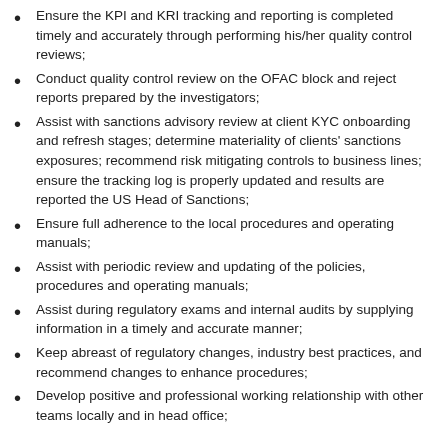Ensure the KPI and KRI tracking and reporting is completed timely and accurately through performing his/her quality control reviews;
Conduct quality control review on the OFAC block and reject reports prepared by the investigators;
Assist with sanctions advisory review at client KYC onboarding and refresh stages; determine materiality of clients' sanctions exposures; recommend risk mitigating controls to business lines; ensure the tracking log is properly updated and results are reported the US Head of Sanctions;
Ensure full adherence to the local procedures and operating manuals;
Assist with periodic review and updating of the policies, procedures and operating manuals;
Assist during regulatory exams and internal audits by supplying information in a timely and accurate manner;
Keep abreast of regulatory changes, industry best practices, and recommend changes to enhance procedures;
Develop positive and professional working relationship with other teams locally and in head office;